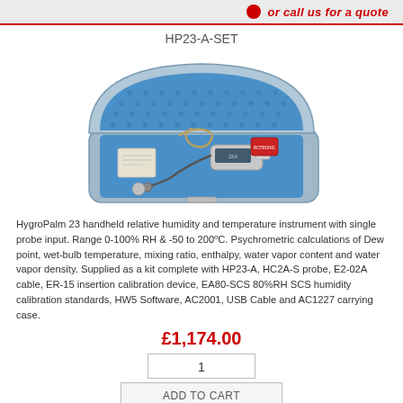or call us for a quote
HP23-A-SET
[Figure (photo): HP23-A-SET product photo showing an open blue-lined carry case containing the HygroPalm 23 handheld humidity and temperature instrument, probe, cable, and calibration accessories.]
HygroPalm 23 handheld relative humidity and temperature instrument with single probe input. Range 0-100% RH & -50 to 200°C. Psychrometric calculations of Dew point, wet-bulb temperature, mixing ratio, enthalpy, water vapor content and water vapor density. Supplied as a kit complete with HP23-A, HC2A-S probe, E2-02A cable, ER-15 insertion calibration device, EA80-SCS 80%RH SCS humidity calibration standards, HW5 Software, AC2001, USB Cable and AC1227 carrying case.
£1,174.00
1
ADD TO CART